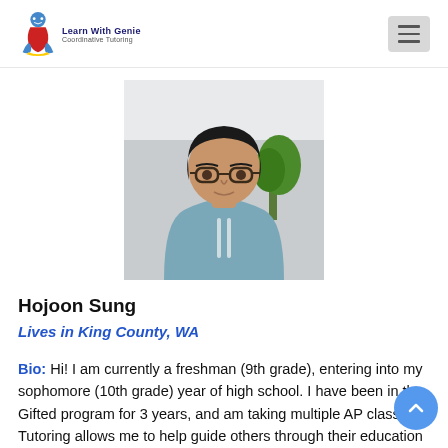Learn With Genie — Coordinative Tutoring
[Figure (photo): Headshot photo of Hojoon Sung, a young man wearing glasses and a light blue hoodie, standing indoors with a plant in the background.]
Hojoon Sung
Lives in King County, WA
Bio: Hi! I am currently a freshman (9th grade), entering into my sophomore (10th grade) year of high school. I have been in the Gifted program for 3 years, and am taking multiple AP classes. Tutoring allows me to help guide others through their education and avoid the mistakes that I made when